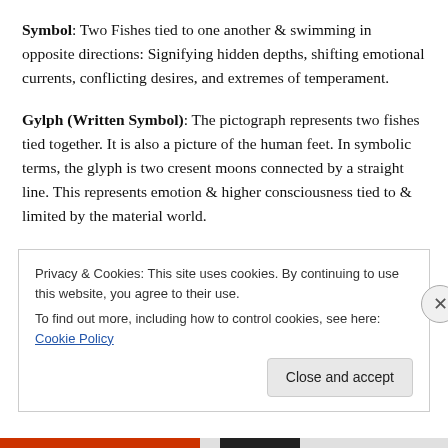Symbol: Two Fishes tied to one another & swimming in opposite directions: Signifying hidden depths, shifting emotional currents, conflicting desires, and extremes of temperament.
Gylph (Written Symbol): The pictograph represents two fishes tied together. It is also a picture of the human feet. In symbolic terms, the glyph is two cresent moons connected by a straight line. This represents emotion & higher consciousness tied to & limited by the material world.
Privacy & Cookies: This site uses cookies. By continuing to use this website, you agree to their use.
To find out more, including how to control cookies, see here: Cookie Policy